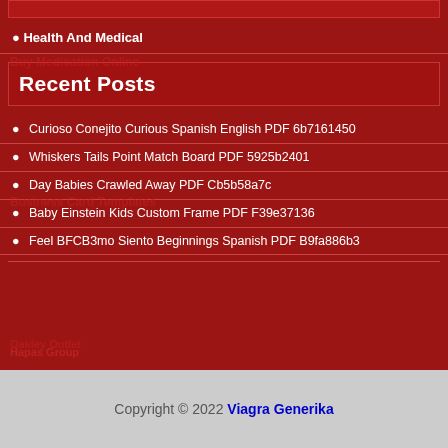Health And Medical
Recent Posts
Curioso Conejito Curious Spanish English PDF 6b7161450
Whiskers Tails Point Match Board PDF 5925b2401
Day Babies Crawled Away PDF Cb5b58a7c
Baby Einstein Kids Custom Frame PDF F39e37136
Feel BFCB3mo Siento Beginnings Spanish PDF B9fa886b3
Copyright © 2022 Viagra Generika